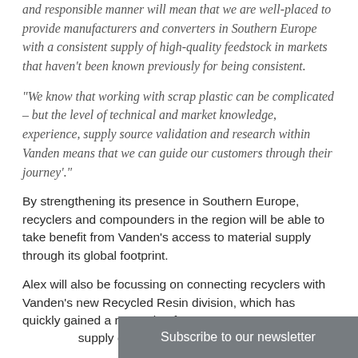and responsible manner will mean that we are well-placed to provide manufacturers and converters in Southern Europe with a consistent supply of high-quality feedstock in markets that haven't been known previously for being consistent.
“We know that working with scrap plastic can be complicated – but the level of technical and market knowledge, experience, supply source validation and research within Vanden means that we can guide our customers through their journey’.
By strengthening its presence in Southern Europe, recyclers and compounders in the region will be able to take benefit from Vanden’s access to material supply through its global footprint.
Alex will also be focussing on connecting recyclers with Vanden’s new Recycled Resin division, which has quickly gained a reputation for p... supply of quality recycle...
Subscribe to our newsletter